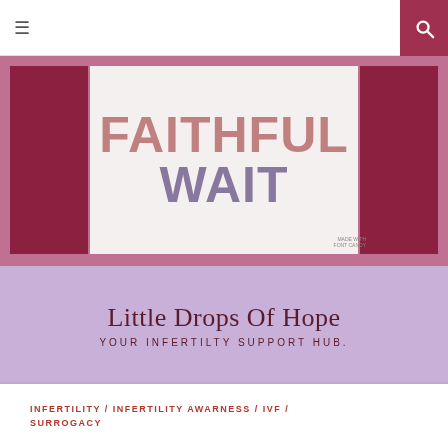≡ [hamburger menu] [search icon]
[Figure (photo): Book or sign displaying 'FAITHFUL WAIT' in large bold letters — 'FAITHFUL' in salmon/rose color and 'WAIT' in mauve/purple, on a light background, flanked by dark maroon side panels. Watermark text in bottom right corner.]
Little Drops Of Hope
YOUR INFERTILTY SUPPORT HUB.
INFERTILITY / INFERTILITY AWARNESS / IVF / SURROGACY